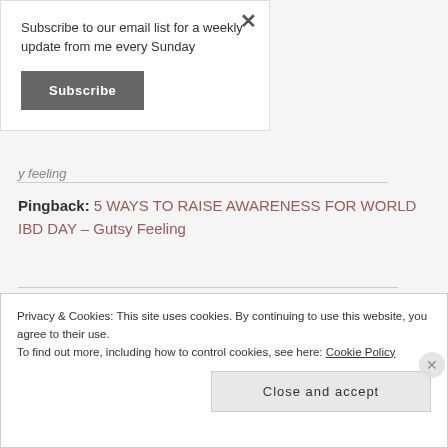Subscribe to our email list for a weekly update from me every Sunday
Subscribe
Pingback: 5 WAYS TO RAISE AWARENESS FOR WORLD IBD DAY – Gutsy Feeling
Privacy & Cookies: This site uses cookies. By continuing to use this website, you agree to their use.
To find out more, including how to control cookies, see here: Cookie Policy
Close and accept